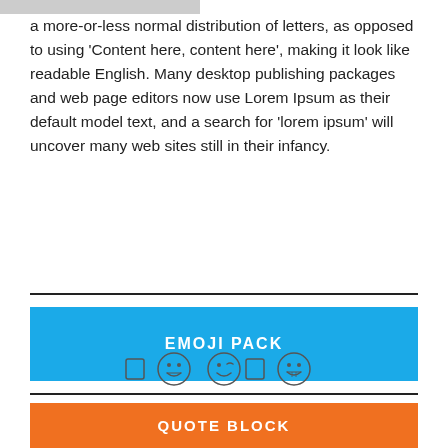[Figure (photo): Partial photo strip at the top of the page, showing what appears to be a person at a desk.]
a more-or-less normal distribution of letters, as opposed to using 'Content here, content here', making it look like readable English. Many desktop publishing packages and web page editors now use Lorem Ipsum as their default model text, and a search for 'lorem ipsum' will uncover many web sites still in their infancy.
EMOJI PACK
[Figure (infographic): A row of emoji icons: rectangular icon, grinning face, winking face, rectangular icon, grinning face with teeth.]
QUOTE BLOCK
Quote regular style looks like this. Aliquam vau...